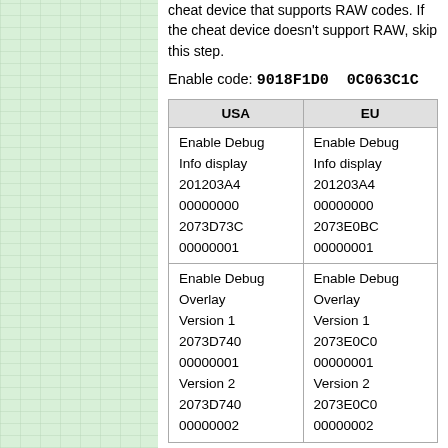cheat device that supports RAW codes. If the cheat device doesn't support RAW, skip this step.
Enable code: 9018F1D0 0C063C1C
| USA | EU |
| --- | --- |
| Enable Debug Info display
201203A4
00000000
2073D73C
00000001 | Enable Debug Info display
201203A4
00000000
2073E0BC
00000001 |
| Enable Debug Overlay Version 1
2073D740
00000001
Version 2
2073D740
00000002 | Enable Debug Overlay Version 1
2073E0C0
00000001
Version 2
2073E0C0
00000002 |